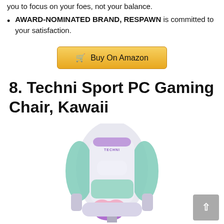you to focus on your foes, not your balance.
AWARD-NOMINATED BRAND, RESPAWN is committed to your satisfaction.
Buy On Amazon
8. Techni Sport PC Gaming Chair, Kawaii
[Figure (photo): Photo of a Techni Sport PC Gaming Chair in Kawaii style with pastel colors including white, mint green, pink, and purple, with a neck pillow and heart-shaped lumbar cushion. The TECHNI logo is visible on the headrest.]